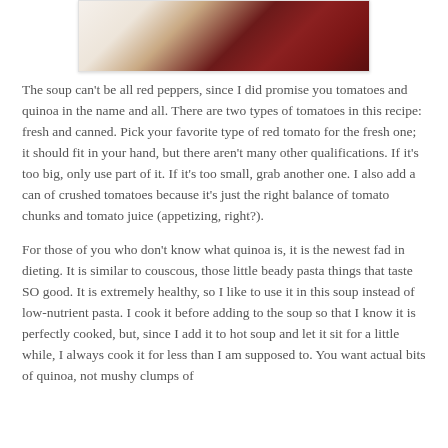[Figure (photo): Partial photo of a bowl or dish with cream/white ceramic edge and dark red background, likely food related]
The soup can't be all red peppers, since I did promise you tomatoes and quinoa in the name and all. There are two types of tomatoes in this recipe: fresh and canned. Pick your favorite type of red tomato for the fresh one; it should fit in your hand, but there aren't many other qualifications. If it's too big, only use part of it. If it's too small, grab another one. I also add a can of crushed tomatoes because it's just the right balance of tomato chunks and tomato juice (appetizing, right?).
For those of you who don't know what quinoa is, it is the newest fad in dieting. It is similar to couscous, those little beady pasta things that taste SO good. It is extremely healthy, so I like to use it in this soup instead of low-nutrient pasta. I cook it before adding to the soup so that I know it is perfectly cooked, but, since I add it to hot soup and let it sit for a little while, I always cook it for less than I am supposed to. You want actual bits of quinoa, not mushy clumps of